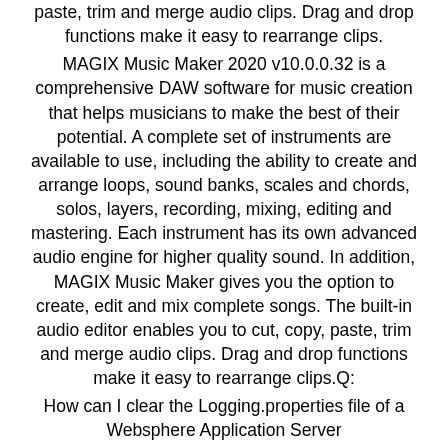paste, trim and merge audio clips. Drag and drop functions make it easy to rearrange clips.
MAGIX Music Maker 2020 v10.0.0.32 is a comprehensive DAW software for music creation that helps musicians to make the best of their potential. A complete set of instruments are available to use, including the ability to create and arrange loops, sound banks, scales and chords, solos, layers, recording, mixing, editing and mastering. Each instrument has its own advanced audio engine for higher quality sound. In addition, MAGIX Music Maker gives you the option to create, edit and mix complete songs. The built-in audio editor enables you to cut, copy, paste, trim and merge audio clips. Drag and drop functions make it easy to rearrange clips.Q:
How can I clear the Logging.properties file of a Websphere Application Server